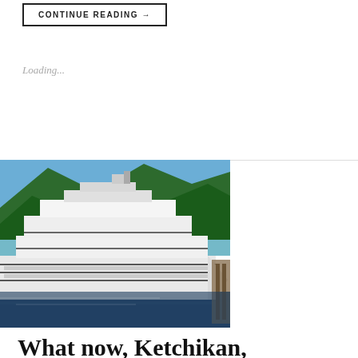CONTINUE READING →
Loading...
[Figure (photo): A large white cruise ship docked at a port with forested mountains in the background under a clear blue sky, appearing to be in Ketchikan, Alaska.]
What now, Ketchikan,